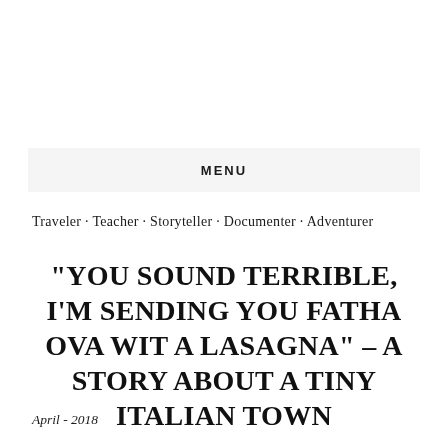MENU
Traveler · Teacher · Storyteller · Documenter · Adventurer
“YOU SOUND TERRIBLE, I’M SENDING YOU FATHA OVA WIT A LASAGNA” – A STORY ABOUT A TINY ITALIAN TOWN
April - 2018